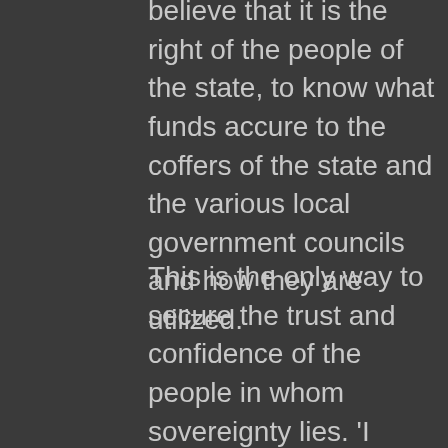believe that it is the right of the people of the state, to know what funds accure to the coffers of the state and the various local government councils and how they are utilized.
This is the only way to secure the trust and confidence of the people in whom sovereignty lies. 'I have directed all local government chairmen to comply with this paradigm shift on the